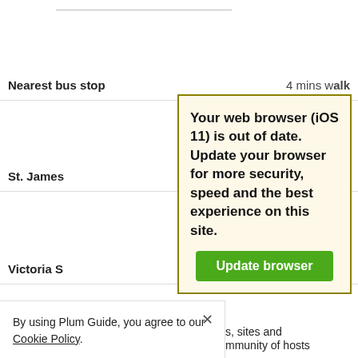Nearest bus stop ... mins walk
St. James ... alk
Victoria S... alk
Cycle sha... alk
Taxis    Local taxi and rideshare services available
Explore nearby
Your web browser (iOS 11) is out of date. Update your browser for more security, speed and the best experience on this site. Update browser
By using Plum Guide, you agree to our Cookie Policy.